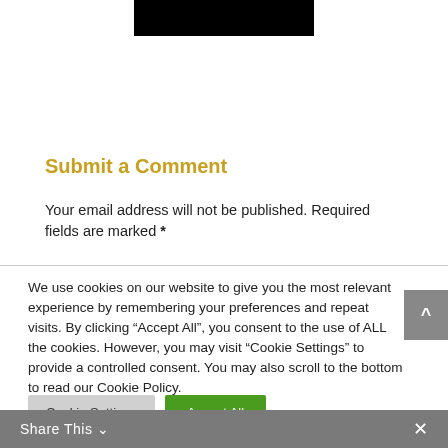[Figure (other): Black rectangular bar at the top center of the page]
Submit a Comment
Your email address will not be published. Required fields are marked *
We use cookies on our website to give you the most relevant experience by remembering your preferences and repeat visits. By clicking “Accept All”, you consent to the use of ALL the cookies. However, you may visit “Cookie Settings” to provide a controlled consent. You may also scroll to the bottom to read our Cookie Policy.
Cookie Settings   Accept All
Share This   ∨   ×